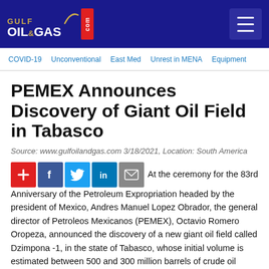GULF OIL & GAS .com
PEMEX Announces Discovery of Giant Oil Field in Tabasco
Source: www.gulfoilandgas.com 3/18/2021, Location: South America
[Figure (other): Social sharing icons: plus, Facebook, Twitter, LinkedIn, email]
At the ceremony for the 83rd Anniversary of the Petroleum Expropriation headed by the president of Mexico, Andres Manuel Lopez Obrador, the general director of Petroleos Mexicanos (PEMEX), Octavio Romero Oropeza, announced the discovery of a new giant oil field called Dzimpona -1, in the state of Tabasco, whose initial volume is estimated between 500 and 300 million barrels of crude oil...